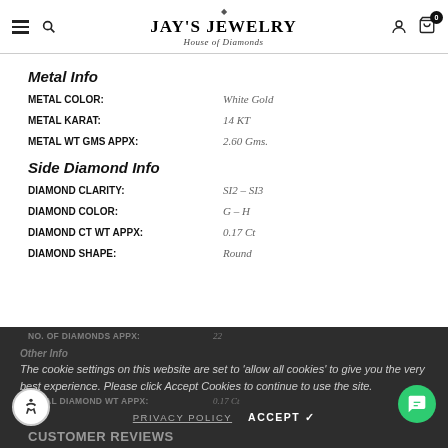JAY'S JEWELRY House of Diamonds
Metal Info
METAL COLOR: White Gold
METAL KARAT: 14 KT
METAL WT GMS APPX: 2.60 Gms.
Side Diamond Info
DIAMOND CLARITY: SI2 – SI3
DIAMOND COLOR: G – H
DIAMOND CT WT APPX: 0.17 Ct
DIAMOND SHAPE: Round
NO. OF DIAMONDS APPX: 22
Other Info
TOTAL DIAMOND WT APPX: 0.17 Ct
The cookie settings on this website are set to 'allow all cookies' to give you the very best experience. Please click Accept Cookies to continue to use the site.
PRIVACY POLICY   ACCEPT ✓
CUSTOMER REVIEWS